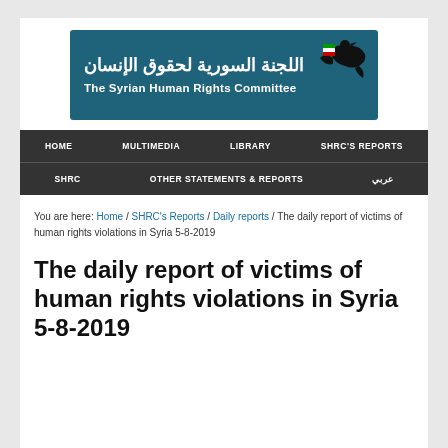[Figure (logo): The Syrian Human Rights Committee logo — teal/dark blue banner with Arabic text 'اللجنة السورية لحقوق الإنسان' and English text 'The Syrian Human Rights Committee' alongside a stylized dove illustration]
HOME | MULTIMEDIA | LIBRARY | SHRC'S REPORTS | SHRC | OTHER STATEMENTS & REPORTS | عربي
You are here: Home / SHRC's Reports / Daily reports / The daily report of victims of human rights violations in Syria 5-8-2019
The daily report of victims of human rights violations in Syria 5-8-2019